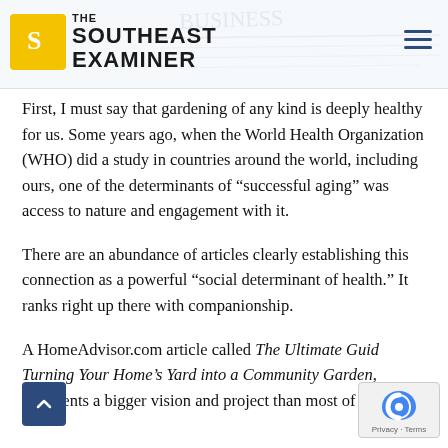THE SOUTHEAST EXAMINER
First, I must say that gardening of any kind is deeply healthy for us. Some years ago, when the World Health Organization (WHO) did a study in countries around the world, including ours, one of the determinants of “successful aging” was access to nature and engagement with it.
There are an abundance of articles clearly establishing this connection as a powerful “social determinant of health.” It ranks right up there with companionship.
A HomeAdvisor.com article called The Ultimate Guide to Turning Your Home’s Yard into a Community Garden, represents a bigger vision and project than most of us